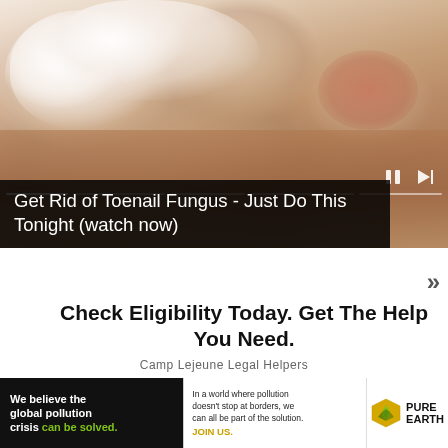[Figure (photo): Close-up photo of toenail fungus - thickened, white, powdery toenails showing fungal infection]
Get Rid of Toenail Fungus - Just Do This Tonight (watch now)
»
Check Eligibility Today. Get The Help You Need.
Camp Lejeune Legal Helpers
[Figure (screenshot): Video player showing 'No compatible source was found for this media.']
[Figure (infographic): Pure Earth advertisement banner. Left black section: 'We believe the global pollution crisis can be solved.' Middle white section: 'In a world where pollution doesn't stop at borders, we can all be part of the solution. JOIN US.' Right section: Pure Earth diamond logo with PURE EARTH wordmark.]